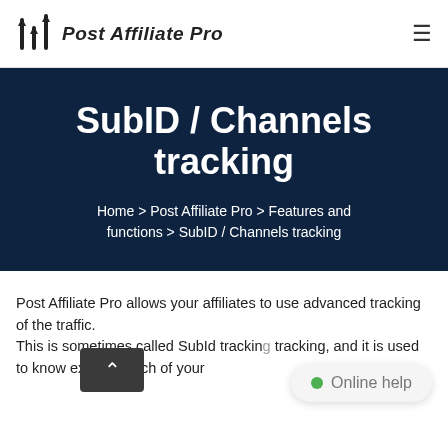Post Affiliate Pro
SubID / Channels tracking
Home > Post Affiliate Pro > Features and functions > SubID / Channels tracking
Post Affiliate Pro allows your affiliates to use advanced tracking of the traffic. This is sometimes called SubId tracking, and it is used to know exactly which of your